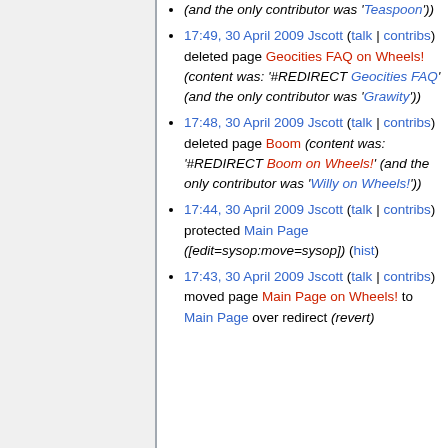(and the only contributor was 'Teaspoon'))
17:49, 30 April 2009 Jscott (talk | contribs) deleted page Geocities FAQ on Wheels! (content was: '#REDIRECT Geocities FAQ' (and the only contributor was 'Grawity'))
17:48, 30 April 2009 Jscott (talk | contribs) deleted page Boom (content was: '#REDIRECT Boom on Wheels!' (and the only contributor was 'Willy on Wheels!'))
17:44, 30 April 2009 Jscott (talk | contribs) protected Main Page ([edit=sysop:move=sysop]) (hist)
17:43, 30 April 2009 Jscott (talk | contribs) moved page Main Page on Wheels! to Main Page over redirect (revert)